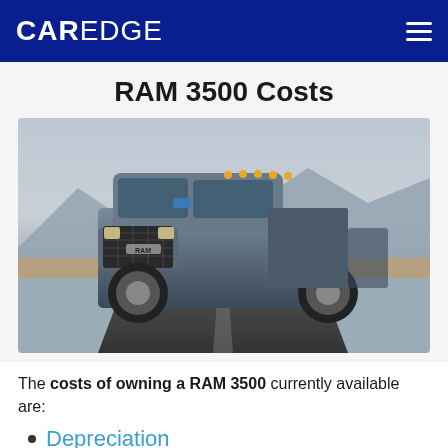CAREDGE
RAM 3500 Costs
[Figure (photo): A RAM 3500 heavy-duty pickup truck driving on a road with mountains in the background.]
The costs of owning a RAM 3500 currently available are:
Depreciation
Insurance Premiums